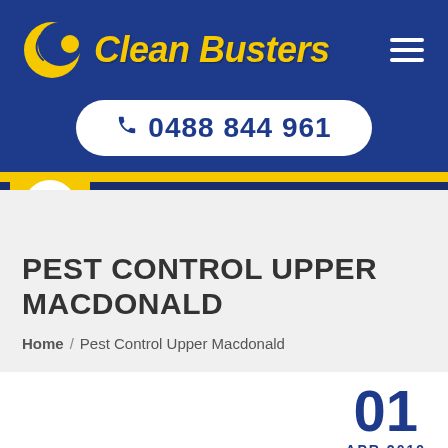[Figure (logo): Clean Busters logo with crescent moon icon and yellow italic text, on dark blue background with hamburger menu and phone number pill]
PEST CONTROL UPPER MACDONALD
Home / Pest Control Upper Macdonald
01 APR 2019